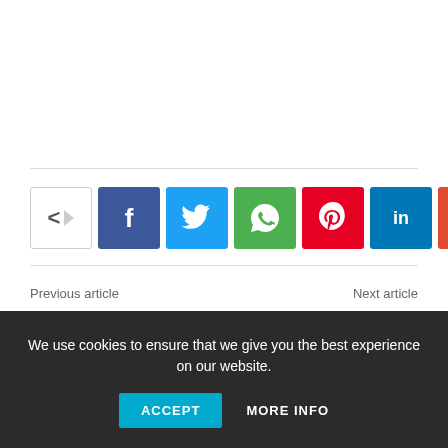[Figure (infographic): Social media share buttons row: share icon (with right arrow), Facebook (f), Twitter (bird), WhatsApp (phone), Pinterest (p), LinkedIn (in), Reddit (alien), and more (+) buttons]
Previous article
Next article
Can you mention the names
Produce my accusers dead
We use cookies to ensure that we give you the best experience on our website.
ACCEPT
MORE INFO